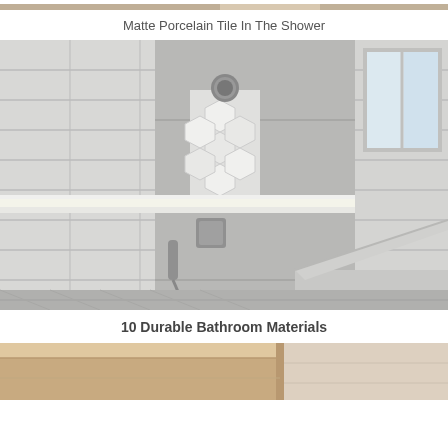[Figure (photo): Top partial photo showing what appears to be a bathroom/tile area, cropped at top of page]
Matte Porcelain Tile In The Shower
[Figure (photo): Interior photo of a modern walk-in shower with white/gray subway tiles on walls, hexagonal accent tiles in the center column, built-in lit shelf, corner bench seat, rain shower head, handheld shower fixture with chrome hardware, and a window on the right side letting in natural light]
10 Durable Bathroom Materials
[Figure (photo): Bottom partial photo showing what appears to be a bathroom countertop or vanity area in warm beige/tan tones]